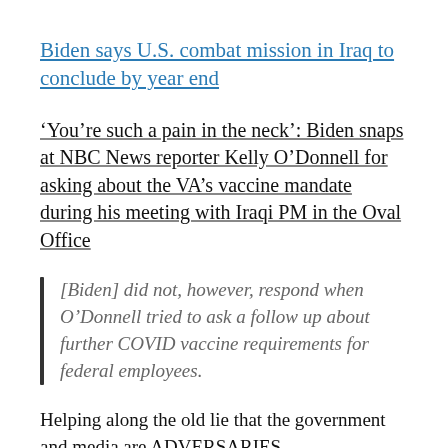Biden says U.S. combat mission in Iraq to conclude by year end
‘You’re such a pain in the neck’: Biden snaps at NBC News reporter Kelly O’Donnell for asking about the VA’s vaccine mandate during his meeting with Iraqi PM in the Oval Office
[Biden] did not, however, respond when O’Donnell tried to ask a follow up about further COVID vaccine requirements for federal employees.
Helping along the old lie that the government and media are ADVERSARIES…